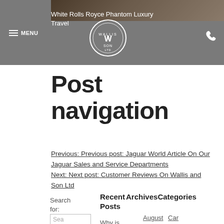[Figure (photo): Partial car photo strip at top of page, dark brownish tones]
MENU | White Rolls Royce Phantom Luxury Travel | Wallis & Son Ltd logo | phone icon
Post navigation
Previous: Previous post: Jaguar World Article On Our Jaguar Sales and Service Departments
Next: Next post: Customer Reviews On Wallis and Son Ltd
Search for:
Recent Posts
Archives
Categories
August   Car
Why is